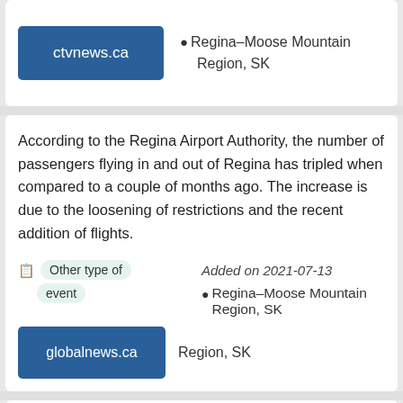ctvnews.ca
Regina–Moose Mountain Region, SK
According to the Regina Airport Authority, the number of passengers flying in and out of Regina has tripled when compared to a couple of months ago. The increase is due to the loosening of restrictions and the recent addition of flights.
Other type of event
Added on 2021-07-13
Regina–Moose Mountain Region, SK
globalnews.ca
The provincial government has chosen Regina-